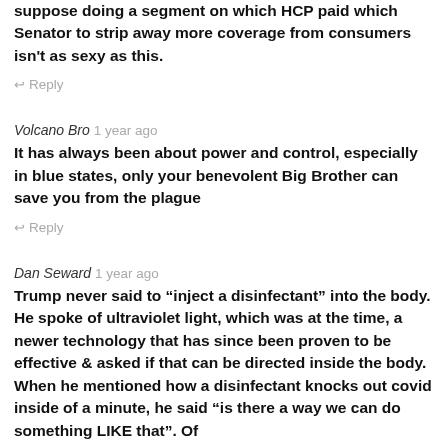suppose doing a segment on which HCP paid which Senator to strip away more coverage from consumers isn't as sexy as this.
↩ Reply
Volcano Bro 1 year ago
It has always been about power and control, especially in blue states, only your benevolent Big Brother can save you from the plague
↩ Reply
Dan Seward 1 year ago
Trump never said to “inject a disinfectant” into the body. He spoke of ultraviolet light, which was at the time, a newer technology that has since been proven to be effective & asked if that can be directed inside the body. When he mentioned how a disinfectant knocks out covid inside of a minute, he said “is there a way we can do something LIKE that”. Of